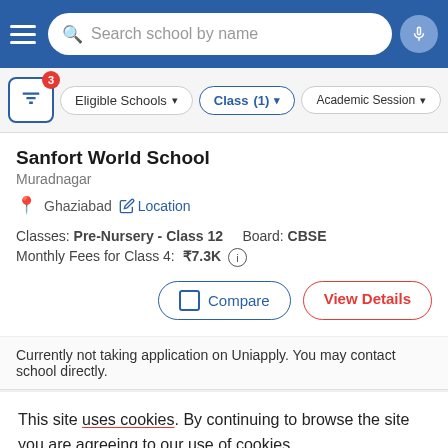Search school by name
Eligible Schools | Class (1) | Academic Session
Sanfort World School
Muradnagar
Ghaziabad  Location
Classes: Pre-Nursery - Class 12    Board: CBSE
Monthly Fees for Class 4:  ₹7.3K
Compare   View Details
Currently not taking application on Uniapply. You may contact school directly.
This site uses cookies. By continuing to browse the site you are agreeing to our use of cookies.
This will help to provide better user experience.
Ok, I Understand